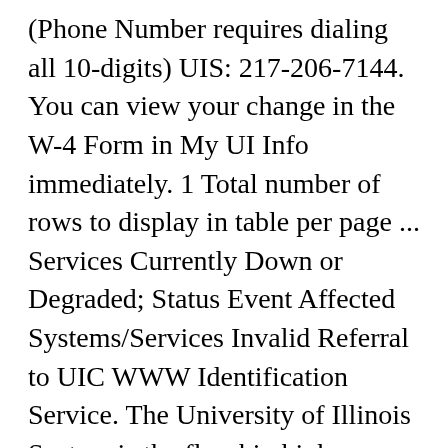(Phone Number requires dialing all 10-digits) UIS: 217-206-7144. You can view your change in the W-4 Form in My UI Info immediately. 1 Total number of rows to display in table per page ... Services Currently Down or Degraded; Status Event Affected Systems/Services Invalid Referral to UIC WWW Identification Service. The University of Illinois System is the flagship higher education system in the state of Illinois. The Login ID and password are case-sensitive. Inside this Profile you will find descriptions of the databases, files, programs, and delivery systems that can provide you with the most accurate and timely data. Please contact the University Payroll and Benefits (UPB) customer service office if you need to get your W-2.